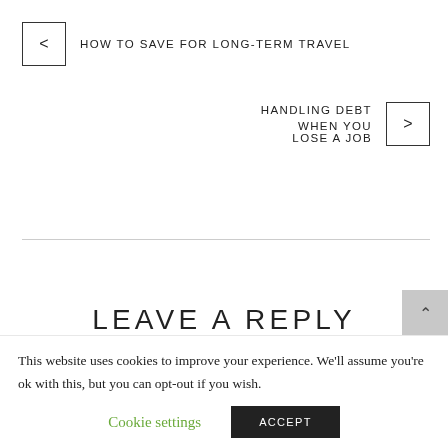< HOW TO SAVE FOR LONG-TERM TRAVEL
HANDLING DEBT WHEN YOU LOSE A JOB >
LEAVE A REPLY
This website uses cookies to improve your experience. We'll assume you're ok with this, but you can opt-out if you wish.
Cookie settings | ACCEPT